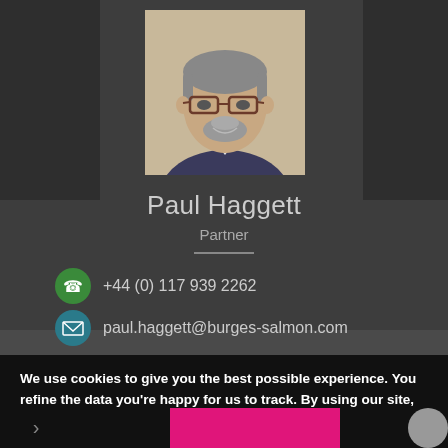[Figure (photo): Headshot photo of Paul Haggett, a man with glasses and a beard, wearing a suit jacket, against a light background.]
Paul Haggett
Partner
+44 (0) 117 939 2262
paul.haggett@burges-salmon.com
We use cookies to give you the best possible experience. You refine the data you're happy for us to track. By using our site, you agree to our Privacy Policy